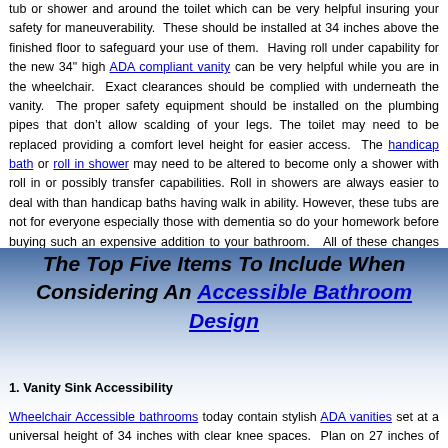tub or shower and around the toilet which can be very helpful insuring your safety for maneuverability.  These should be installed at 34 inches above the finished floor to safeguard your use of them.  Having roll under capability for the new 34" high ADA compliant vanity can be very helpful while you are in the wheelchair.  Exact clearances should be complied with underneath the vanity.  The proper safety equipment should be installed on the plumbing pipes that don't allow scalding of your legs. The toilet may need to be replaced providing a comfort level height for easier access.  The handicap bath or roll in shower may need to be altered to become only a shower with roll in or possibly transfer capabilities. Roll in showers are always easier to deal with than handicap baths having walk in ability. However, these tubs are not for everyone especially those with dementia so do your homework before buying such an expensive addition to your bathroom.   All of these changes must be done along the  ADA guidelines for your safety.
The Top Five Items To Include When Considering An Accessible Bathroom Design
1. Vanity Sink Accessibility
Wheelchair Accessible bathrooms today contain stylish ADA vanities set at a universal height of 34 inches with clear knee spaces.  Plan on 27 inches of vertical clearance for a wheelchair. The sink faucets must be easily controlled by